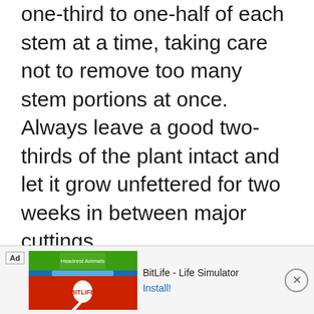one-third to one-half of each stem at a time, taking care not to remove too many stem portions at once. Always leave a good two-thirds of the plant intact and let it grow unfettered for two weeks in between major cuttings.
[Figure (other): Advertisement banner for BitLife - Life Simulator app. Contains ad label, game screenshots, BitLife logo on red background, app name 'BitLife - Life Simulator', and an 'Install!' button with a close X button.]